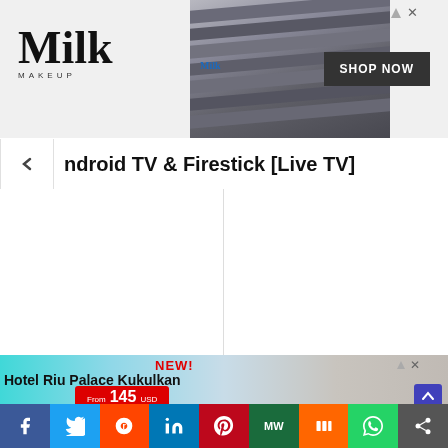[Figure (screenshot): Milk Makeup advertisement banner with pencils and SHOP NOW button]
ndroid TV & Firestick [Live TV]
[Figure (screenshot): Hotel Riu Palace Kukulkan advertisement - NEW! From 145 USD]
[Figure (screenshot): Social media sharing bar with Facebook, Twitter, Reddit, LinkedIn, Pinterest, MeWe, Mix, WhatsApp, Share buttons]